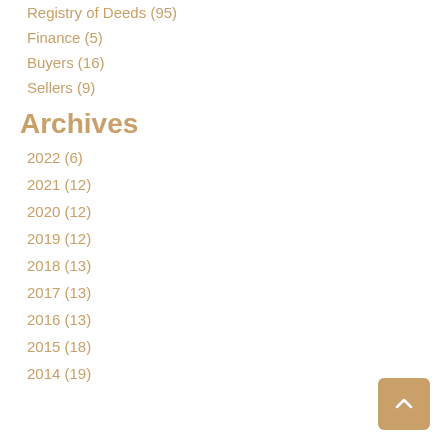Registry of Deeds (95)
Finance (5)
Buyers (16)
Sellers (9)
Archives
2022 (6)
2021 (12)
2020 (12)
2019 (12)
2018 (13)
2017 (13)
2016 (13)
2015 (18)
2014 (19)